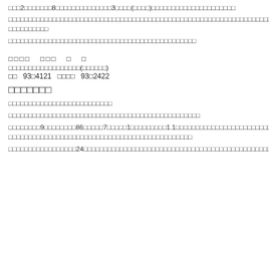□□□2□□□□□□□8□□□□□□□□□□□□□□3□□□□(□□□□)□□□□□□□□□□□□□□□□□□□□□
□□□□□□□□□□□□□□□□□□□□□□□□□□□□□□□□□□□□□□□□□□□□□□□□□□□□□□□□□□□□□□□□□□□□□□□□□□□□□□□□□□□□□□□□□□
□□□□□□□□□□□□□□□□□□□□□□□□□□□□□□□□□□□□□□□□□□□□□□
□□□□　□□□　□　□
□□□□□□□□□□□□□□□□□□(□□□□□□)
□□　93□4121　□□□□　93□2422
□□□□□□□
□□□□□□□□□□□□□□□□□□□□□□□□□□
□□□□□□□□□□□□□□□□□□□□□□□□□□□□□□□□□□□□□□□□□□□□□□□
□□□□□□□□9□□□□□□□□86□□□□□7□□□□□1□□□□□□□□□1.1□□□□□□□□□□□□□□□□□□□□□□□□□□□□□□□□□□□□□□□□□□□□□□□□□□□□□□
□□□□□□□□□□□□□□□□□24□□□□□□□□□□□□□□□□□□□□□□□□□□□□□□□□□□□□□□□□□□□□□□□□□□□□□□□□□□□□□□□□□□□□□□□□□□□□□□□□□□□□□□□□□□□□□□□□□□□□□□□□